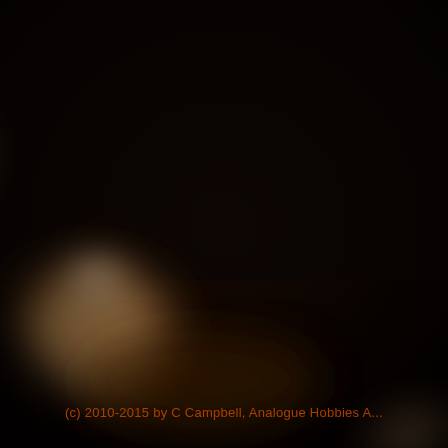[Figure (photo): Close-up, heavily blurred macro photograph in dark warm tones. The image shows what appears to be rounded organic objects (possibly nuts, seeds, or small food items) with a shallow depth of field. The background is very dark, almost black, with warm brown and orange hues on the visible subjects. Lower right corner shows a lighter blurred shape. The entire image is extremely out of focus with a bokeh effect.]
(c) 2010-2015 by C Campbell, Analogue Hobbies A...